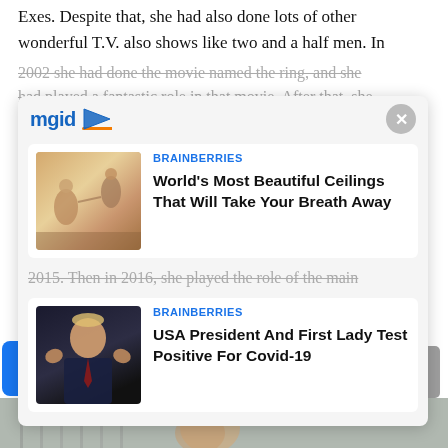Exes. Despite that, she had also done lots of other wonderful T.V. also shows like two and a half men. In 2002 she had done the movie named the ring, and she had played a fantastic role in that movie. After that, she had...
[Figure (screenshot): mgid advertising overlay card with two sponsored articles: 1) BRAINBERRIES - World's Most Beautiful Ceilings That Will Take Your Breath Away (with Sistine Chapel image), 2) BRAINBERRIES - USA President And First Lady Test Positive For Covid-19 (with Trump image). Card has close X button and mgid logo.]
2015. Then in 2016, she played the role of the main
voice artist, and she had given the voice of the mouse in Dolittle. So in this way, she had done a great struggle in her life to stand on her feet.
[Figure (screenshot): Social media share buttons: Facebook, Twitter, Pinterest, LinkedIn, More (plus sign). Scroll-to-top button on right.]
[Figure (photo): Bottom image strip showing partial photo]